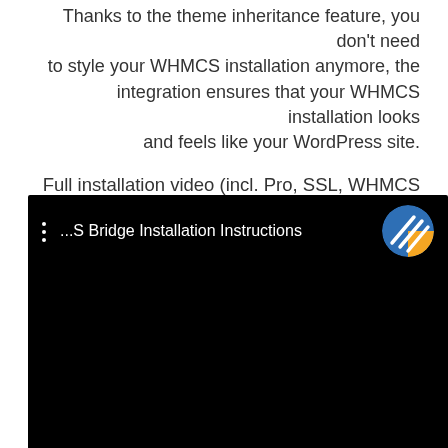Thanks to the theme inheritance feature, you don't need to style your WHMCS installation anymore, the integration ensures that your WHMCS installation looks and feels like your WordPress site.
Full installation video (incl. Pro, SSL, WHMCS addon and caching)
[Figure (screenshot): Embedded video player showing '...S Bridge Installation Instructions' with a logo icon (blue and yellow circle with diagonal stripes) in the top right, three-dot menu on the left, on a black background.]